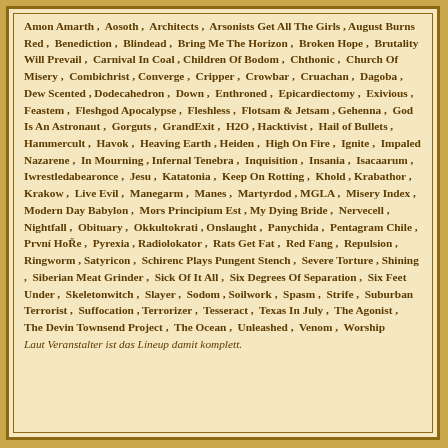Amon Amarth, Aosoth, Architects, Arsonists Get All The Girls, August Burns Red, Benediction, Blindead, Bring Me The Horizon, Broken Hope, Brutality Will Prevail, Carnival In Coal, Children Of Bodom, Chthonic, Church Of Misery, Combichrist, Converge, Cripper, Crowbar, Cruachan, Dagoba, Dew Scented, Dodecahedron, Down, Enthroned, Epicardiectomy, Exivious, Feastem, Fleshgod Apocalypse, Fleshless, Flotsam & Jetsam, Gehenna, God Is An Astronaut, Gorguts, GrandExit, H2O, Hacktivist, Hail of Bullets, Hammercult, Havok, Heaving Earth, Heiden, High On Fire, Ignite, Impaled Nazarene, In Mourning, Infernal Tenebra, Inquisition, Insania, Isacaarum, Iwrestledabearonce, Jesu, Katatonia, Keep On Rotting, Khold, Krabathor, Krakow, Live Evil, Manegarm, Manes, Martyrdod, MGLA, Misery Index, Modern Day Babylon, Mors Principium Est, My Dying Bride, Nervecell, Nightfall, Obituary, Okkultokrati, Onslaught, Panychida, Pentagram Chile, První HoŘe, Pyrexia, Radiolokator, Rats Get Fat, Red Fang, Repulsion, Ringworm, Satyricon, Schirenc Plays Pungent Stench, Severe Torture, Shining, Siberian Meat Grinder, Sick Of It All, Six Degrees Of Separation, Six Feet Under, Skeletonwitch, Slayer, Sodom, Soilwork, Spasm, Strife, Suburban Terrorist, Suffocation, Terrorizer, Tesseract, Texas In July, The Agonist, The Devin Townsend Project, The Ocean, Unleashed, Venom, Worship
Laut Veranstalter ist das Lineup damit komplett.